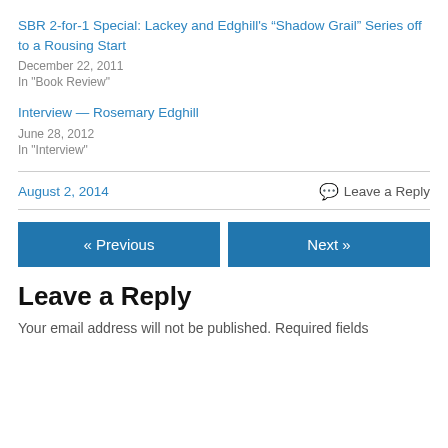SBR 2-for-1 Special: Lackey and Edghill's “Shadow Grail” Series off to a Rousing Start
December 22, 2011
In "Book Review"
Interview — Rosemary Edghill
June 28, 2012
In "Interview"
August 2, 2014
Leave a Reply
« Previous
Next »
Leave a Reply
Your email address will not be published. Required fields